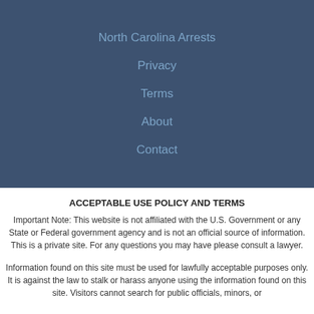North Carolina Arrests
Privacy
Terms
About
Contact
ACCEPTABLE USE POLICY AND TERMS
Important Note: This website is not affiliated with the U.S. Government or any State or Federal government agency and is not an official source of information. This is a private site. For any questions you may have please consult a lawyer.
Information found on this site must be used for lawfully acceptable purposes only. It is against the law to stalk or harass anyone using the information found on this site. Visitors cannot search for public officials, minors, or